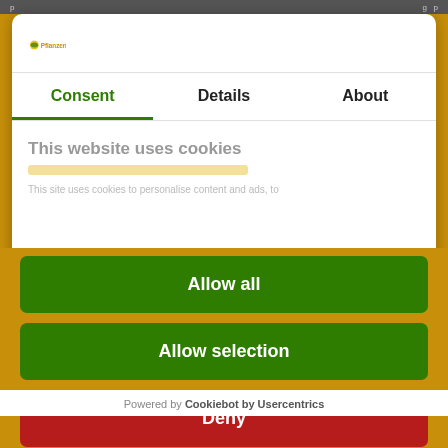[Figure (logo): Pflanzen logo - small green/yellow plant icon with text]
Consent | Details | About
This website uses cookies
This site uses cookies to personalise content and ads, to...
Allow all
Allow selection
Deny
Powered by Cookiebot by Usercentrics